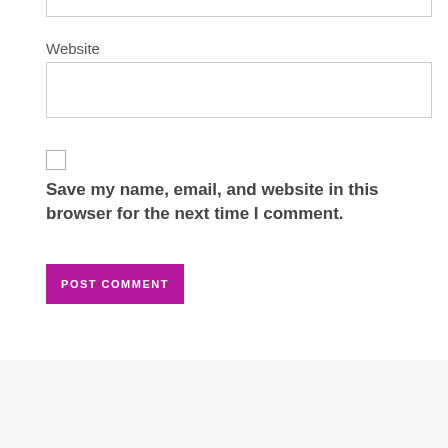Website
Save my name, email, and website in this browser for the next time I comment.
POST COMMENT
If you'd like to help...